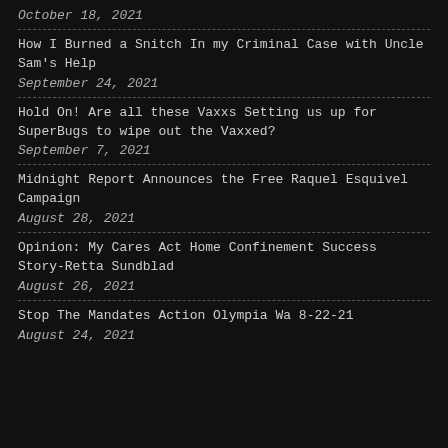October 18, 2021
How I Burned a Snitch In my Criminal Case with Uncle Sam's Help
September 24, 2021
Hold On! Are all these Vaxxs Setting us up for SuperBugs to wipe out the Vaxxed?
September 7, 2021
Midnight Report Announces the Free Raquel Esquivel Campaign
August 28, 2021
Opinion: My Cares Act Home Confinement Success Story-Retta Sundblad
August 26, 2021
Stop The Mandates Action Olympia Wa 8-22-21
August 24, 2021